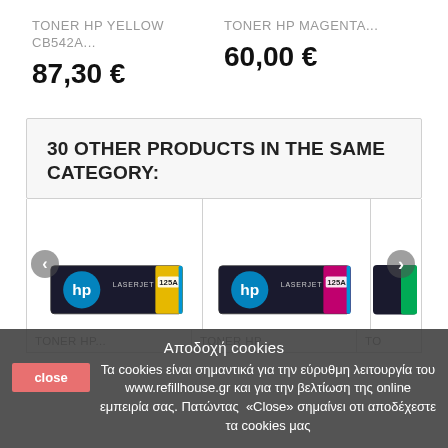TONER HP YELLOW CB542A...
87,30 €
TONER HP MAGENTA...
60,00 €
30 OTHER PRODUCTS IN THE SAME CATEGORY:
[Figure (photo): HP LaserJet 125A yellow toner cartridge product photo]
[Figure (photo): HP LaserJet 125A magenta toner cartridge product photo]
TONER HP...
TO...
Αποδοχή cookies
close
Τα cookies είναι σημαντικά για την εύρυθμη λειτουργία του www.refillhouse.gr και για την βελτίωση της online εμπειρία σας. Πατώντας «Close» σημαίνει οτι αποδέχεστε τα cookies μας